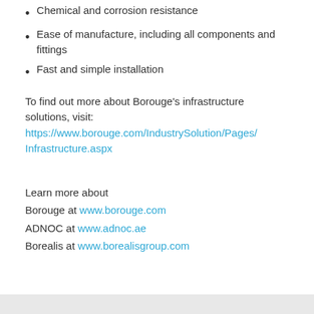Chemical and corrosion resistance
Ease of manufacture, including all components and fittings
Fast and simple installation
To find out more about Borouge's infrastructure solutions, visit: https://www.borouge.com/IndustrySolution/Pages/Infrastructure.aspx
Learn more about
Borouge at www.borouge.com
ADNOC at www.adnoc.ae
Borealis at www.borealisgroup.com